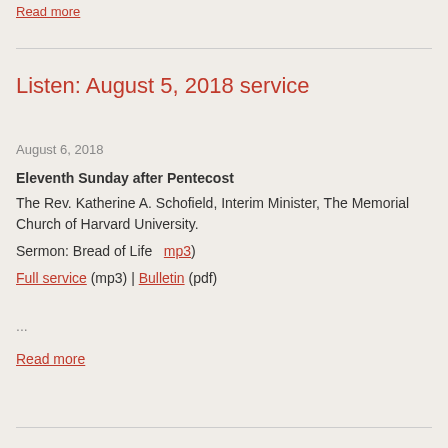Read more
Listen: August 5, 2018 service
August 6, 2018
Eleventh Sunday after Pentecost
The Rev. Katherine A. Schofield, Interim Minister, The Memorial Church of Harvard University.
Sermon: Bread of Life  mp3)
Full service (mp3) | Bulletin (pdf)
...
Read more